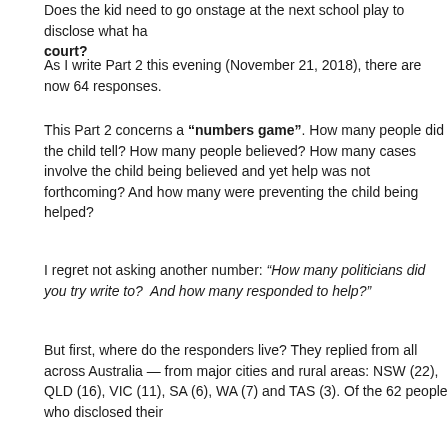Does the kid need to go onstage at the next school play to disclose what ha... court?
As I write Part 2 this evening (November 21, 2018), there are now 64 responses.
This Part 2 concerns a “numbers game”. How many people did the child tell? How many people believed? How many cases involve the child being believed and yet help was not forthcoming? And how many were preventing the child being helped?
I regret not asking another number: “How many politicians did you try write to?  And how many responded to help?”
But first, where do the responders live? They replied from all across Australia — from major cities and rural areas: NSW (22), QLD (16), VIC (11), SA (6), WA (7) and TAS (3). Of the 62 people who disclosed their